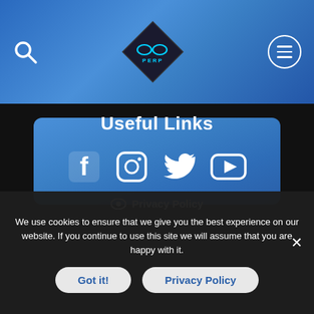PERP logo with search and menu icons
Useful Links
[Figure (illustration): Social media icons: Facebook, Instagram, Twitter, YouTube]
Privacy Policy
We use cookies to ensure that we give you the best experience on our website. If you continue to use this site we will assume that you are happy with it.
Got it!
Privacy Policy